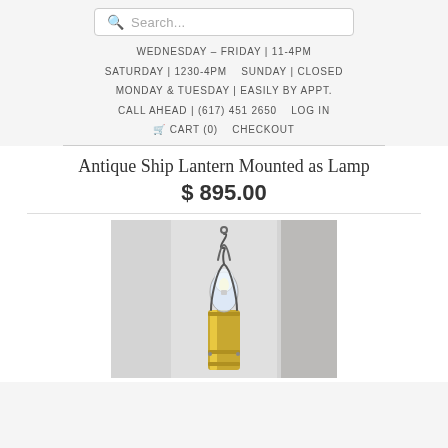Search...
WEDNESDAY - FRIDAY | 11-4PM
SATURDAY | 1230-4PM    SUNDAY | CLOSED
MONDAY & TUESDAY | EASILY BY APPT.
CALL AHEAD | (617) 451 2650    LOG IN
🛒 CART (0)    CHECKOUT
Antique Ship Lantern Mounted as Lamp
$ 895.00
[Figure (photo): Close-up photo of an antique ship lantern mounted as a lamp, showing a brass cylindrical base with a glass globe top and a wire handle/bail, photographed against a light grey background.]